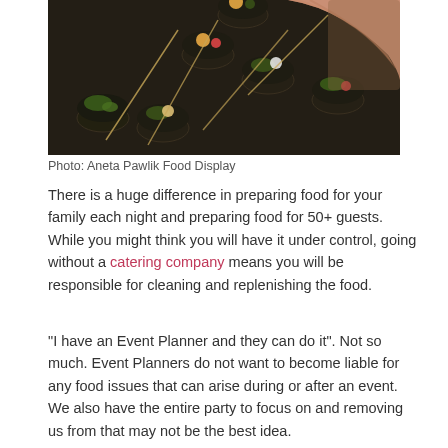[Figure (photo): Overhead view of a hand holding a small cup of food over an array of small appetizer cups with skewers, arranged on a dark tray — catering food display.]
Photo: Aneta Pawlik Food Display
There is a huge difference in preparing food for your family each night and preparing food for 50+ guests. While you might think you will have it under control, going without a catering company means you will be responsible for cleaning and replenishing the food.
“I have an Event Planner and they can do it”. Not so much. Event Planners do not want to become liable for any food issues that can arise during or after an event. We also have the entire party to focus on and removing us from that may not be the best idea.